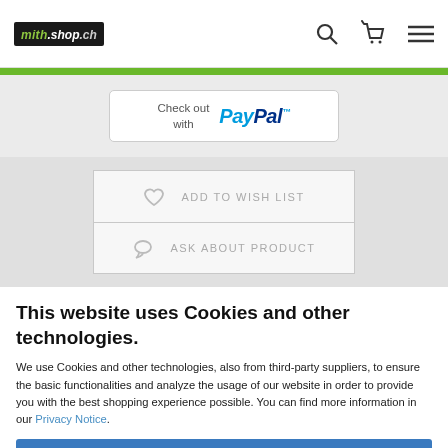mith.shop.ch — header with logo, search icon, cart icon, menu icon
[Figure (screenshot): PayPal checkout button — 'Check out with PayPal']
[Figure (screenshot): Add to Wish List and Ask About Product buttons]
This website uses Cookies and other technologies.
We use Cookies and other technologies, also from third-party suppliers, to ensure the basic functionalities and analyze the usage of our website in order to provide you with the best shopping experience possible. You can find more information in our Privacy Notice.
Accept all
More information
Husqvarna® Automower and Gardens • Automatic Lawmow…